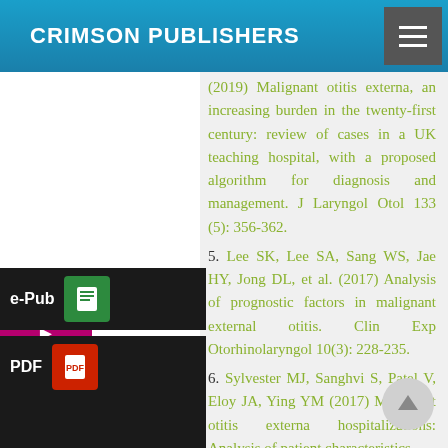CRIMSON PUBLISHERS
(2019) Malignant otitis externa, an increasing burden in the twenty-first century: review of cases in a UK teaching hospital, with a proposed algorithm for diagnosis and management. J Laryngol Otol 133 (5): 356-362.
5. Lee SK, Lee SA, Sang WS, Jae HY, Jong DL, et al. (2017) Analysis of prognostic factors in malignant external otitis. Clin Exp Otorhinolaryngol 10(3): 228-235.
6. Sylvester MJ, Sanghvi S, Patel V, Eloy JA, Ying YM (2017) Malignant otitis externa hospitalizations: Analysis of patient characteristics.